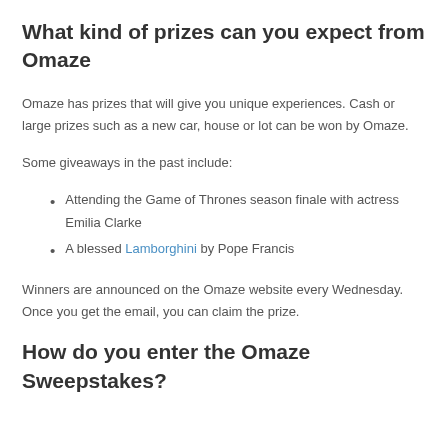What kind of prizes can you expect from Omaze
Omaze has prizes that will give you unique experiences. Cash or large prizes such as a new car, house or lot can be won by Omaze.
Some giveaways in the past include:
Attending the Game of Thrones season finale with actress Emilia Clarke
A blessed Lamborghini by Pope Francis
Winners are announced on the Omaze website every Wednesday. Once you get the email, you can claim the prize.
How do you enter the Omaze Sweepstakes?